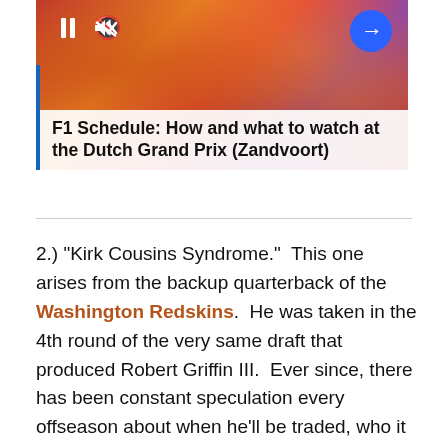[Figure (photo): Video thumbnail showing a large crowd of sports fans in orange/red colors with media player controls (pause button, mute button, next arrow button). Below the thumbnail is a title card with a blue vertical bar: 'F1 Schedule: How and what to watch at the Dutch Grand Prix (Zandvoort)']
2.) "Kirk Cousins Syndrome."  This one arises from the backup quarterback of the Washington Redskins.  He was taken in the 4th round of the very same draft that produced Robert Griffin III.  Ever since, there has been constant speculation every offseason about when he'll be traded, who it will be to, and what it will be for.  After he won his first few starts (or, more accurately, Washington won in spite of him), it was projected that he could go for as early as a second rounder.  Cousins struggled a bit in his time as a starter last season.